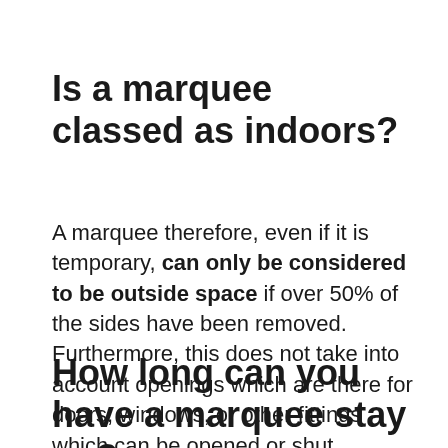Is a marquee classed as indoors?
A marquee therefore, even if it is temporary, can only be considered to be outside space if over 50% of the sides have been removed. Furthermore, this does not take into account openings which are there for doors, windows, or other fittings which can be opened or shut.
How long can you have a marquee stay up?